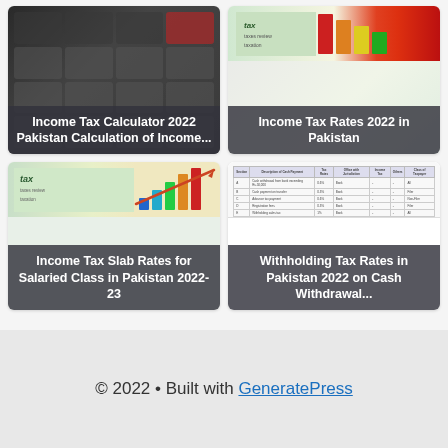[Figure (screenshot): Card: Income Tax Calculator 2022 Pakistan Calculation of Income... - dark calculator keyboard background with white overlay text]
[Figure (screenshot): Card: Income Tax Rates 2022 in Pakistan - taxation banner image with green/red elements, white overlay text]
[Figure (screenshot): Card: Income Tax Slab Rates for Salaried Class in Pakistan 2022-23 - colorful tax/taxation banner with bar chart graphics]
[Figure (screenshot): Card: Withholding Tax Rates in Pakistan 2022 on Cash Withdrawal... - table/document image]
© 2022 • Built with GeneratePress